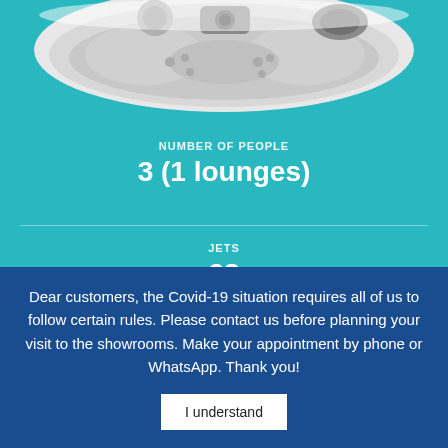[Figure (photo): Top portion of a white hot tub / spa product with gray accents, visible controls and jets, photographed against a teal/turquoise background]
NUMBER OF PEOPLE
3 (1 lounges)
JETS
28
HEATER POWER
3 kW
Dear customers, the Covid-19 situation requires all of us to follow certain rules. Please contact us before planning your visit to the showrooms. Make your appointment by phone or WhatsApp. Thank you!
I understand